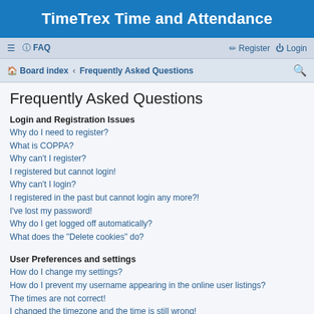TimeTrex Time and Attendance
≡  FAQ    Register   Login
Board index · Frequently Asked Questions
Frequently Asked Questions
Login and Registration Issues
Why do I need to register?
What is COPPA?
Why can't I register?
I registered but cannot login!
Why can't I login?
I registered in the past but cannot login any more?!
I've lost my password!
Why do I get logged off automatically?
What does the "Delete cookies" do?
User Preferences and settings
How do I change my settings?
How do I prevent my username appearing in the online user listings?
The times are not correct!
I changed the timezone and the time is still wrong!
My language is not in the list!
What are the images next to my username?